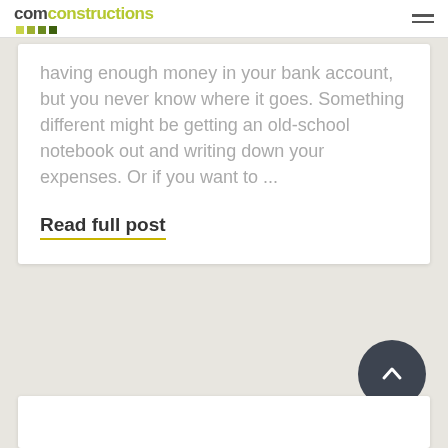com constructions
having enough money in your bank account, but you never know where it goes. Something different might be getting an old-school notebook out and writing down your expenses. Or if you want to ...
Read full post